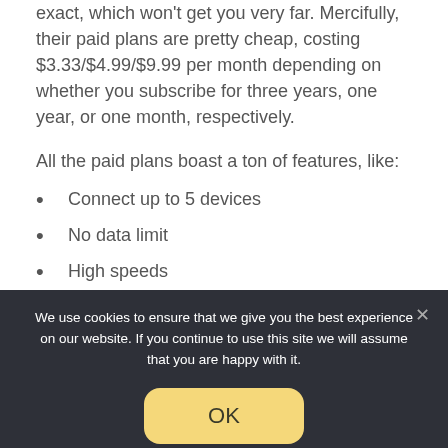exact, which won't get you very far. Mercifully, their paid plans are pretty cheap, costing $3.33/$4.99/$9.99 per month depending on whether you subscribe for three years, one year, or one month, respectively.
All the paid plans boast a ton of features, like:
Connect up to 5 devices
No data limit
High speeds
We use cookies to ensure that we give you the best experience on our website. If you continue to use this site we will assume that you are happy with it.
OK